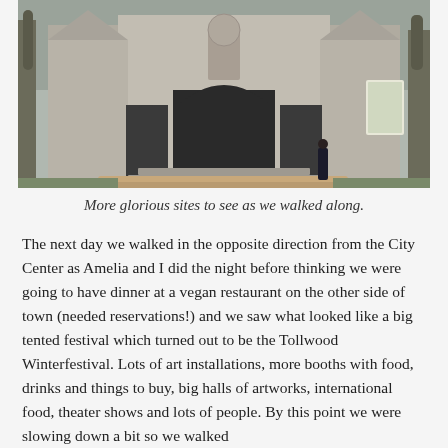[Figure (photo): A large Gothic-style stone church or cathedral with ornate arched entrance doors and decorative stonework. Steps lead up to the entrance. A single person stands near the bottom of the steps. Bare trees flank the building. A sign or notice board is visible to the right. The sky is overcast.]
More glorious sites to see as we walked along.
The next day we walked in the opposite direction from the City Center as Amelia and I did the night before thinking we were going to have dinner at a vegan restaurant on the other side of town (needed reservations!) and we saw what looked like a big tented festival which turned out to be the Tollwood Winterfestival. Lots of art installations, more booths with food, drinks and things to buy, big halls of artworks, international food, theater shows and lots of people. By this point we were slowing down a bit so we walked